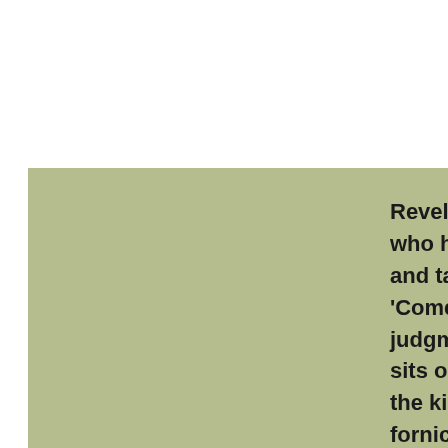Revelation 17:1-6 "Then one of the seven angels who had the seven bowls came and talked with me, saying to me, 'Come, I will show you the judgment of the great harlot who sits on many waters, with whom the kings of the earth committed fornication, and the inhabitants of the earth were made drunk with the wine of her fornication.' So he carried me away in the Spirit into the wilderness. And I saw a woman sitting on a scarlet beast which was full of